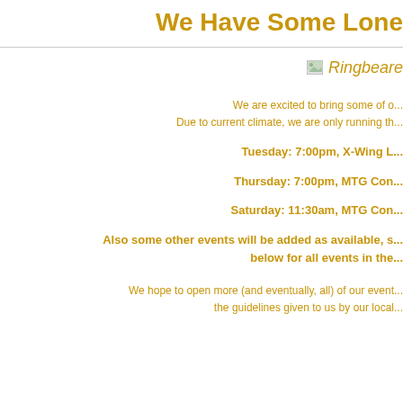We Have Some Lone
[Figure (photo): Broken image placeholder with italic text 'Ringbeare' (partially visible)]
We are excited to bring some of o... Due to current climate, we are only running th...
Tuesday: 7:00pm, X-Wing L...
Thursday: 7:00pm, MTG Con...
Saturday: 11:30am, MTG Con...
Also some other events will be added as available, s... below for all events in the...
We hope to open more (and eventually, all) of our event... the guidelines given to us by our local...